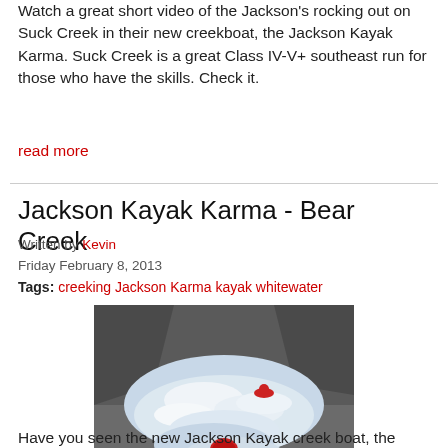Watch a great short video of the Jackson's rocking out on Suck Creek in their new creekboat, the Jackson Kayak Karma. Suck Creek is a great Class IV-V+ southeast run for those who have the skills. Check it.
read more
Jackson Kayak Karma - Bear Creek
Written by Kevin
Friday February 8, 2013
Tags: creeking Jackson Karma kayak whitewater
[Figure (photo): Kayaker in an orange kayak viewed from behind, paddling toward whitewater rapids on Bear Creek, surrounded by rocky forested terrain. Another kayaker is visible in the rapids ahead.]
Have you seen the new Jackson Kayak creek boat, the Karma?